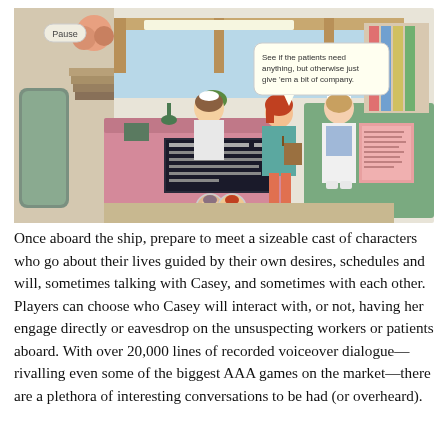[Figure (screenshot): Screenshot of a video game set in a hospital/ship setting. Shows an animated scene with a nurse character wearing a white uniform and cap speaking to a red-haired character with a bag. A receptionist is visible behind a pink desk. A speech bubble reads 'See if the patients need anything, but otherwise just give 'em a bit of company.' Two small circular character portrait icons appear at the bottom center. A 'Pause' button is visible in the top left.]
Once aboard the ship, prepare to meet a sizeable cast of characters who go about their lives guided by their own desires, schedules and will, sometimes talking with Casey, and sometimes with each other. Players can choose who Casey will interact with, or not, having her engage directly or eavesdrop on the unsuspecting workers or patients aboard. With over 20,000 lines of recorded voiceover dialogue—rivalling even some of the biggest AAA games on the market—there are a plethora of interesting conversations to be had (or overheard).